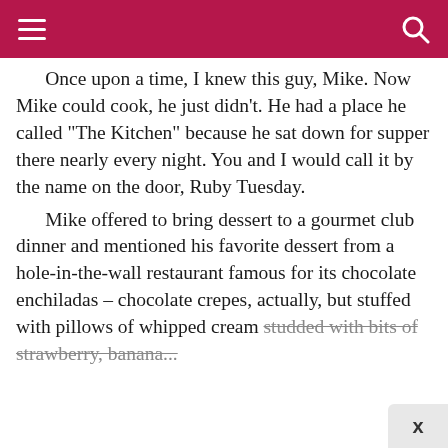Once upon a time, I knew this guy, Mike. Now Mike could cook, he just didn't. He had a place he called "The Kitchen" because he sat down for supper there nearly every night. You and I would call it by the name on the door, Ruby Tuesday.
Mike offered to bring dessert to a gourmet club dinner and mentioned his favorite dessert from a hole-in-the-wall restaurant famous for its chocolate enchiladas – chocolate crepes, actually, but stuffed with pillows of whipped cream studded with bits of strawberry, banana...